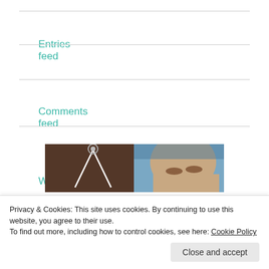Entries feed
Comments feed
WordPress.com
Advertisements
[Figure (photo): Advertisement image showing a person looking through a glass window with geometric shapes]
Privacy & Cookies: This site uses cookies. By continuing to use this website, you agree to their use.
To find out more, including how to control cookies, see here: Cookie Policy
Close and accept